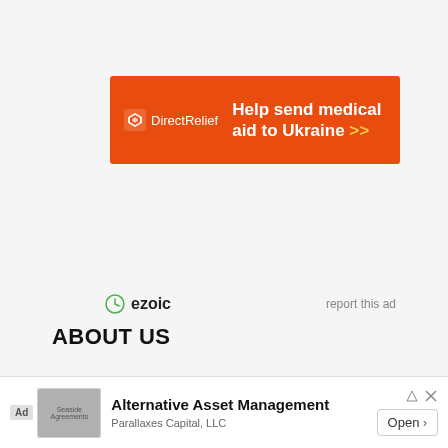[Figure (screenshot): Direct Relief orange banner advertisement: Help send medical aid to Ukraine >>]
[Figure (logo): Ezoic logo with report this ad link]
ABOUT US
We are passionate about tools and love to play with
[Figure (screenshot): Bottom banner ad: Alternative Asset Management - Parallaxes Capital, LLC - Open button]